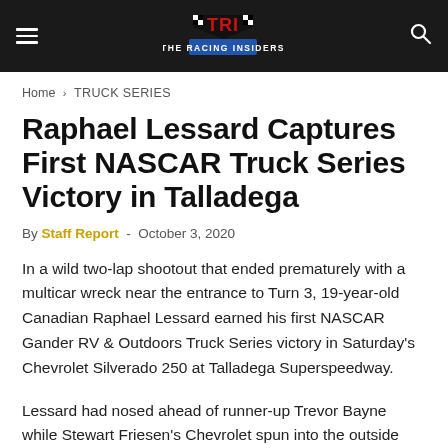TRI – THE RACING INSIDERS
Home › TRUCK SERIES
Raphael Lessard Captures First NASCAR Truck Series Victory in Talladega
By Staff Report - October 3, 2020
In a wild two-lap shootout that ended prematurely with a multicar wreck near the entrance to Turn 3, 19-year-old Canadian Raphael Lessard earned his first NASCAR Gander RV & Outdoors Truck Series victory in Saturday's Chevrolet Silverado 250 at Talladega Superspeedway.
Lessard had nosed ahead of runner-up Trevor Bayne while Stewart Friesen's Chevrolet spun into the outside backstretch